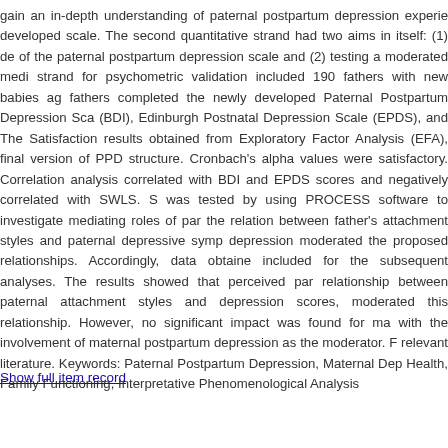gain an in-depth understanding of paternal postpartum depression experie developed scale. The second quantitative strand had two aims in itself: (1) de of the paternal postpartum depression scale and (2) testing a moderated medi strand for psychometric validation included 190 fathers with new babies ag fathers completed the newly developed Paternal Postpartum Depression Sca (BDI), Edinburgh Postnatal Depression Scale (EPDS), and The Satisfaction results obtained from Exploratory Factor Analysis (EFA), final version of PPD structure. Cronbach's alpha values were satisfactory. Correlation analysis correlated with BDI and EPDS scores and negatively correlated with SWLS. S was tested by using PROCESS software to investigate mediating roles of par the relation between father's attachment styles and paternal depressive symp depression moderated the proposed relationships. Accordingly, data obtaine included for the subsequent analyses. The results showed that perceived par relationship between paternal attachment styles and depression scores, moderated this relationship. However, no significant impact was found for ma with the involvement of maternal postpartum depression as the moderator. F relevant literature. Keywords: Paternal Postpartum Depression, Maternal Dep Health, Family Functioning, Interpretative Phenomenological Analysis
Show full item record